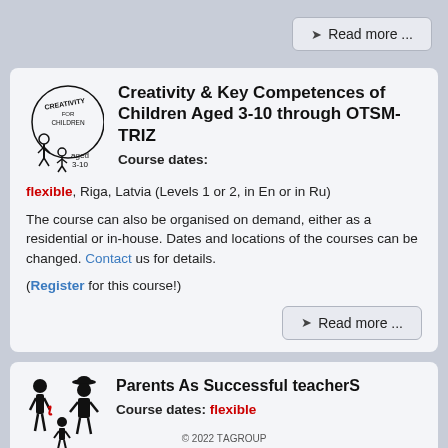Read more ...
Creativity & Key Competences of Children Aged 3-10 through OTSM-TRIZ
Course dates:
flexible, Riga, Latvia (Levels 1 or 2, in En or in Ru)
The course can also be organised on demand, either as a residential or in-house. Dates and locations of the courses can be changed. Contact us for details.
(Register for this course!)
Read more ...
Parents As Successful teacherS
Course dates: flexible
The course can be organised on demand, either as residential or in-house. The course can be delivered in English,
© 2022 TАGROUP